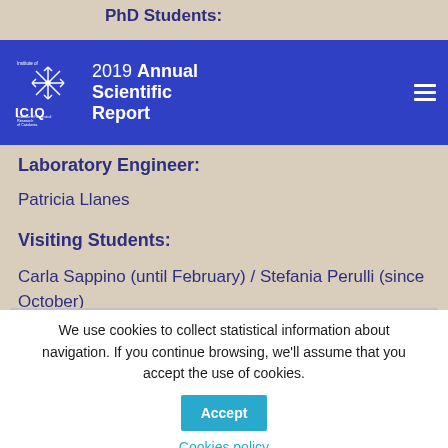PhD Students:
[Figure (screenshot): ICIQ Institute of Chemical Research of Catalonia logo with snowflake-like molecule icon, white on blue background. Navigation bar overlay showing '2019 Annual Scientific Report' with hamburger menu icon.]
Pol (Hor... / Marco M. Mir... / ...nan Lai / Nicola Zanda
Laboratory Engineer:
Patricia Llanes
Visiting Students:
Carla Sappino (until February) / Stefania Perulli (since October)
We use cookies to collect statistical information about navigation. If you continue browsing, we'll assume that you accept the use of cookies.
Accept
Cookies policy